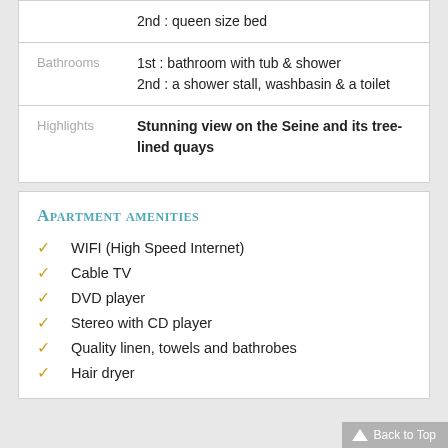2nd : queen size bed
Bathrooms
1st : bathroom with tub & shower
2nd : a shower stall, washbasin & a toilet
Highlights
Stunning view on the Seine and its tree-lined quays
Apartment amenities
WIFI (High Speed Internet)
Cable TV
DVD player
Stereo with CD player
Quality linen, towels and bathrobes
Hair dryer